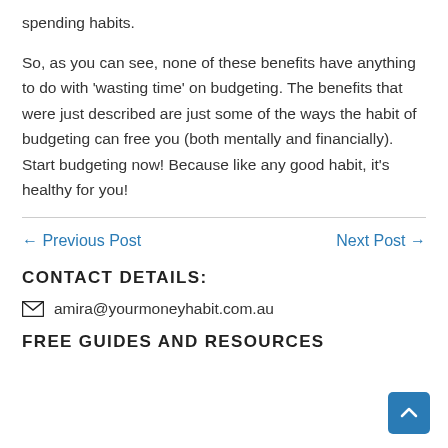spending habits.
So, as you can see, none of these benefits have anything to do with 'wasting time' on budgeting. The benefits that were just described are just some of the ways the habit of budgeting can free you (both mentally and financially). Start budgeting now! Because like any good habit, it's healthy for you!
← Previous Post
Next Post →
CONTACT DETAILS:
amira@yourmoneyhabit.com.au
FREE GUIDES AND RESOURCES